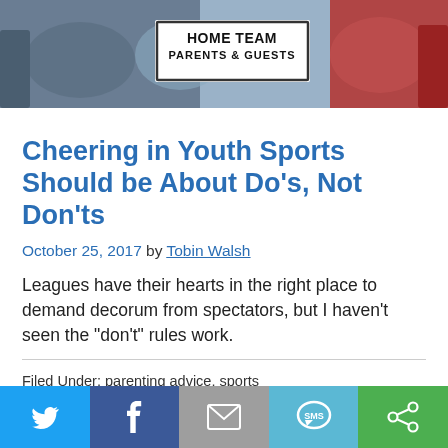[Figure (photo): Crowd at a youth sports event; a sign reads HOME TEAM PARENTS & GUESTS]
Cheering in Youth Sports Should be About Do’s, Not Don’ts
October 25, 2017 by Tobin Walsh
Leagues have their hearts in the right place to demand decorum from spectators, but I haven’t seen the “don’t” rules work.
Filed Under: parenting advice, sports
Tagged With: sports parents, sportsmanship, youth sports
[Figure (infographic): Social sharing bar with Twitter, Facebook, Email, SMS, and another share button]